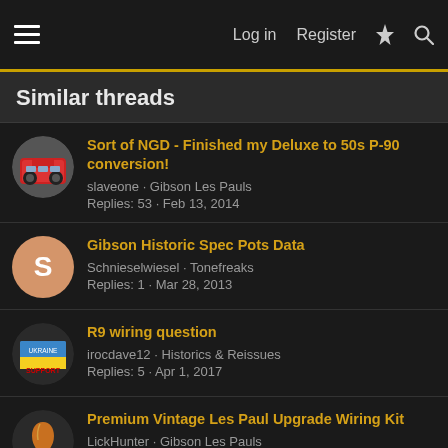Log in  Register
Similar threads
Sort of NGD - Finished my Deluxe to 50s P-90 conversion!
slaveone · Gibson Les Pauls
Replies: 53 · Feb 13, 2014
Gibson Historic Spec Pots Data
Schnieselwiesel · Tonefreaks
Replies: 1 · Mar 28, 2013
R9 wiring question
irocdave12 · Historics & Reissues
Replies: 5 · Apr 1, 2017
Premium Vintage Les Paul Upgrade Wiring Kit
LickHunter · Gibson Les Pauls
Replies: 10 · Apr 28, 2013
To bee, or not to bee